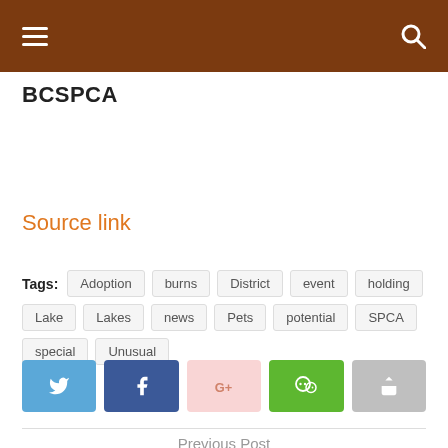BCSPCA
BCSPCA
Source link
Tags: Adoption burns District event holding Lake Lakes news Pets potential SPCA special Unusual
[Figure (other): Social sharing buttons: Twitter, Facebook, Google+, WeChat, Share]
Previous Post